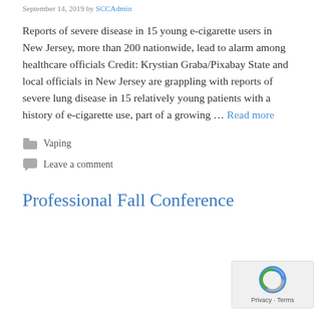September 14, 2019 by SCCAdmin
Reports of severe disease in 15 young e-cigarette users in New Jersey, more than 200 nationwide, lead to alarm among healthcare officials Credit: Krystian Graba/Pixabay State and local officials in New Jersey are grappling with reports of severe lung disease in 15 relatively young patients with a history of e-cigarette use, part of a growing … Read more
Vaping
Leave a comment
Professional Fall Conference